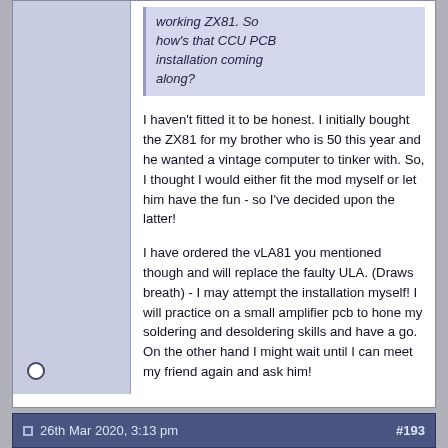working ZX81. So how's that CCU PCB installation coming along?
I haven't fitted it to be honest. I initially bought the ZX81 for my brother who is 50 this year and he wanted a vintage computer to tinker with. So, I thought I would either fit the mod myself or let him have the fun - so I've decided upon the latter!

I have ordered the vLA81 you mentioned though and will replace the faulty ULA. (Draws breath) - I may attempt the installation myself! I will practice on a small amplifier pcb to hone my soldering and desoldering skills and have a go. On the other hand I might wait until I can meet my friend again and ask him!
26th Mar 2020, 3:13 pm   #193